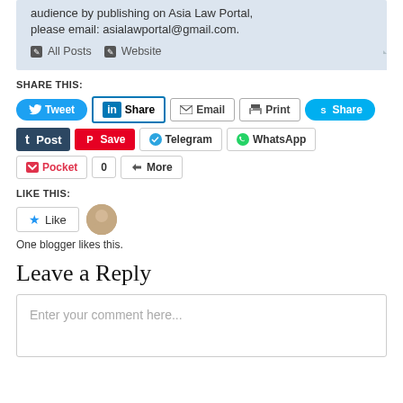audience by publishing on Asia Law Portal, please email: asialawportal@gmail.com.
All Posts   Website
SHARE THIS:
Tweet  Share  Email  Print  Share  Post  Save  Telegram  WhatsApp  Pocket  0  More
LIKE THIS:
Like   [avatar]   One blogger likes this.
Leave a Reply
Enter your comment here...